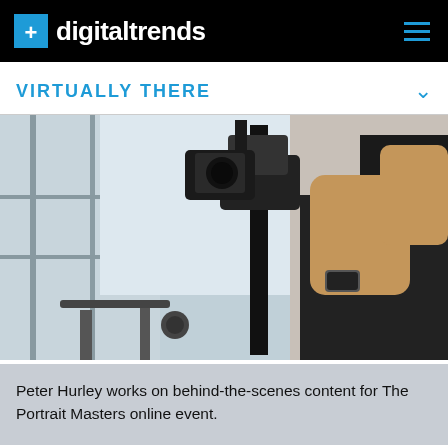digitaltrends
VIRTUALLY THERE
[Figure (photo): A man in a black t-shirt operating a camera on a gimbal/stabilizer in a photography studio with window light and equipment visible]
Peter Hurley works on behind-the-scenes content for The Portrait Masters online event.
The Portrait Masters